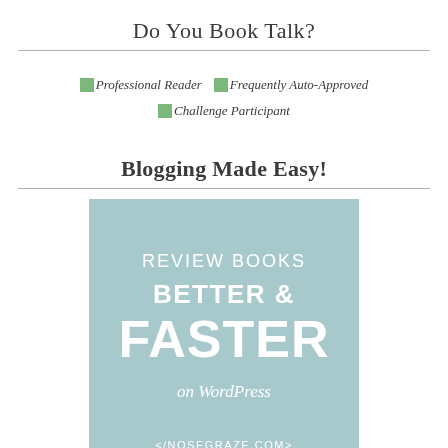Do You Book Talk?
[Figure (infographic): Three broken image placeholders with text labels: Professional Reader, Frequently Auto-Approved, Challenge Participant]
Blogging Made Easy!
[Figure (infographic): Light teal advertisement banner reading: REVIEW BOOKS BETTER & FASTER on WordPress <NOSEGRAZE.COM>]